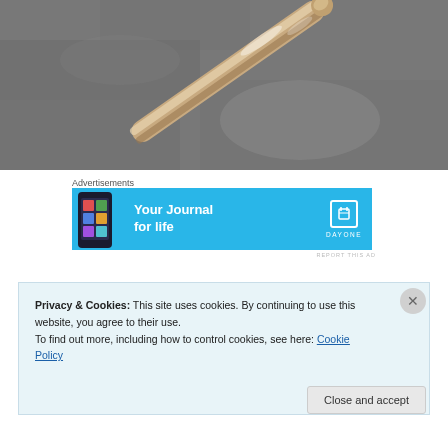[Figure (photo): Close-up photo of a shiny metallic spatula or flat tool resting on a gray stone/concrete surface, photographed diagonally.]
Advertisements
[Figure (other): Advertisement banner for Day One journal app. Blue background with phone mockup on left, 'Your Journal for life' text in white, and Day One logo on right.]
REPORT THIS AD
Privacy & Cookies: This site uses cookies. By continuing to use this website, you agree to their use.
To find out more, including how to control cookies, see here: Cookie Policy
Close and accept